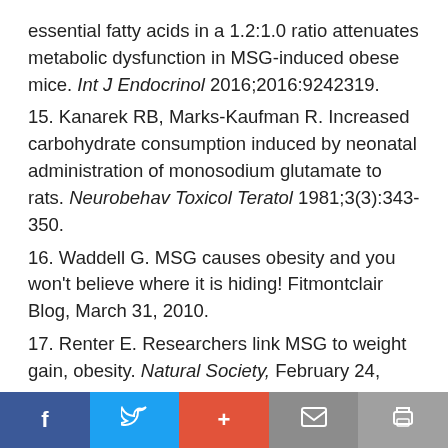essential fatty acids in a 1.2:1.0 ratio attenuates metabolic dysfunction in MSG-induced obese mice. Int J Endocrinol 2016;2016:9242319.
15. Kanarek RB, Marks-Kaufman R. Increased carbohydrate consumption induced by neonatal administration of monosodium glutamate to rats. Neurobehav Toxicol Teratol 1981;3(3):343-350.
16. Waddell G. MSG causes obesity and you won't believe where it is hiding! Fitmontclair Blog, March 31, 2010.
17. Renter E. Researchers link MSG to weight gain, obesity. Natural Society, February 24,
f  [twitter]  +  [mail]  [print]